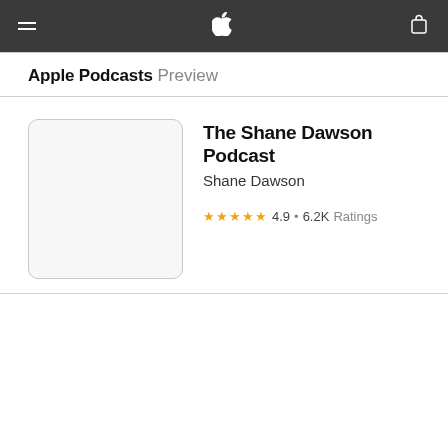Apple Podcasts Preview
[Figure (other): Blank podcast artwork placeholder image with light gray border]
The Shane Dawson Podcast
Shane Dawson
★★★★★ 4.9 • 6.2K Ratings